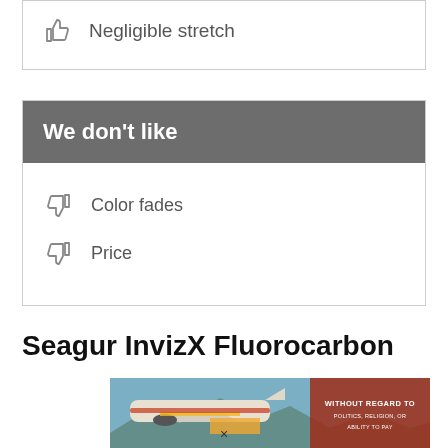Negligible stretch
We don't like
Color fades
Price
Seagur InvizX Fluorocarbon
[Figure (photo): Advertisement banner showing an airplane being loaded with cargo, with text overlay reading 'WITHOUT REGARD TO POLITICS, RELIGION, OR ABILITY TO PAY']